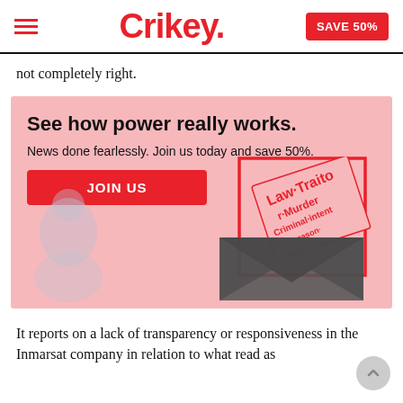Crikey. SAVE 50%
not completely right.
[Figure (infographic): Pink advertisement box for Crikey subscription. Contains bold headline 'See how power really works.', subtext 'News done fearlessly. Join us today and save 50%.' a red JOIN US button, a ghost figure illustration on the left, and an envelope with a letter containing words like Law, Traitor, Murder, Criminal, intent on the right side with a red border.]
It reports on a lack of transparency or responsiveness in the Inmarsat company in relation to what read as